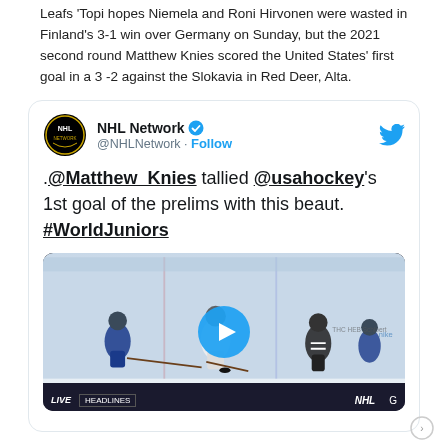Leafs 'Topi hopes Niemela and Roni Hirvonen were wasted in Finland's 3-1 win over Germany on Sunday, but the 2021 second round Matthew Knies scored the United States' first goal in a 3 -2 against the Slokavia in Red Deer, Alta.
[Figure (screenshot): Embedded tweet from NHL Network showing a video of Matthew Knies scoring USA hockey's first goal of the World Juniors prelims against Slovakia. The tweet text reads: .@Matthew_Knies tallied @usahockey's 1st goal of the prelims with this beaut. #WorldJuniors. The video thumbnail shows a hockey faceoff scene with a play button overlay and 'Watch on Twitter' text.]